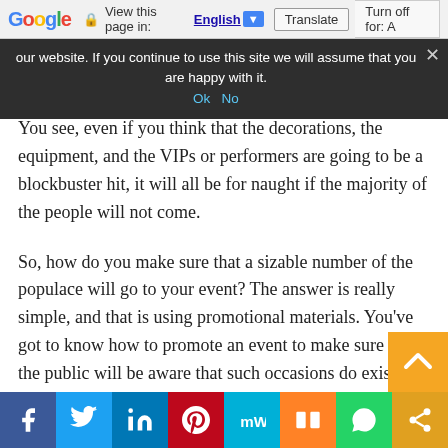Google  View this page in: English [▼]  Translate  Turn off for: A
our website. If you continue to use this site we will assume that you are happy with it.  Ok  No
You see, even if you think that the decorations, the equipment, and the VIPs or performers are going to be a blockbuster hit, it will all be for naught if the majority of the people will not come.
So, how do you make sure that a sizable number of the populace will go to your event? The answer is really simple, and that is using promotional materials. You've got to know how to promote an event to make sure that the public will be aware that such occasions do exist.
You could hire a graphic designer that will take care of the design and other promotional materials. The final output should reflect the theme of the event so that people will know what it is all about. However, using physical promotional props will not lift the
f  t  in  P  mW  m  WhatsApp  share